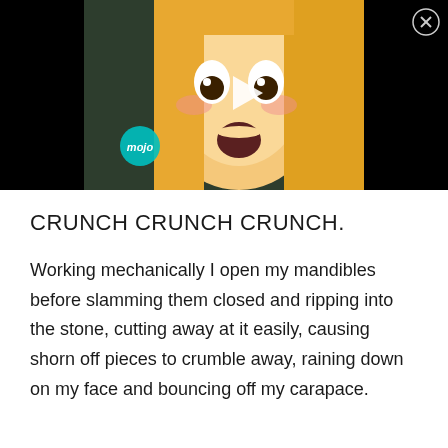[Figure (screenshot): Anime-style illustration of a blonde girl with wide eyes and open mouth expression, overlaid with a play button triangle in the center. A 'mojo' logo appears in a teal circle at lower left. A close (X in circle) button appears at top right. The background is black with the illustration centered.]
CRUNCH CRUNCH CRUNCH.
Working mechanically I open my mandibles before slamming them closed and ripping into the stone, cutting away at it easily, causing shorn off pieces to crumble away, raining down on my face and bouncing off my carapace.